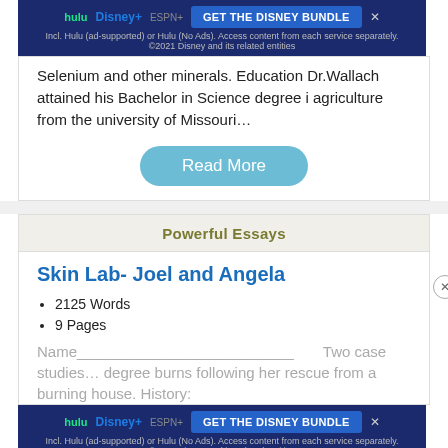[Figure (screenshot): Hulu Disney+ ESPN+ advertisement banner with GET THE DISNEY BUNDLE call to action]
Selenium and other minerals. Education Dr.Wallach attained his Bachelor in Science degree i agriculture from the university of Missouri…
Read More
Powerful Essays
Skin Lab- Joel and Angela
2125 Words
9 Pages
Name___________________________ Two case studies… degree burns following her rescue from a burning house. History:
[Figure (screenshot): Hulu Disney+ ESPN+ advertisement banner with GET THE DISNEY BUNDLE call to action]